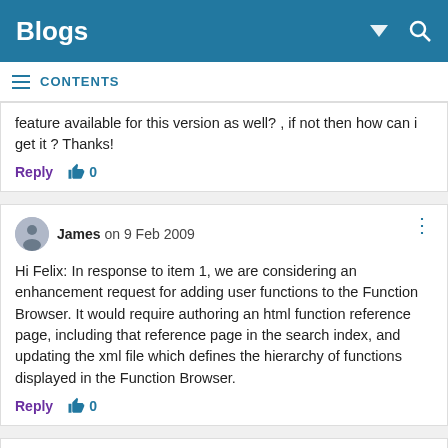Blogs
CONTENTS
feature available for this version as well? , if not then how can i get it ? Thanks!
Reply  👍 0
James on 9 Feb 2009
Hi Felix: In response to item 1, we are considering an enhancement request for adding user functions to the Function Browser. It would require authoring an html function reference page, including that reference page in the search index, and updating the xml file which defines the hierarchy of functions displayed in the Function Browser.
Reply  👍 0